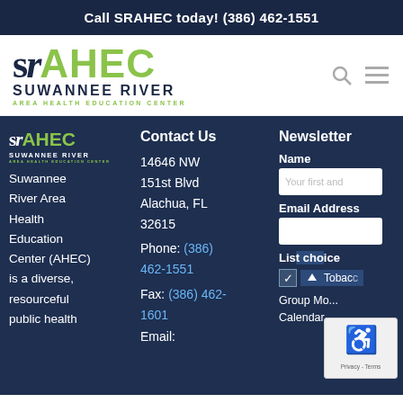Call SRAHEC today! (386) 462-1551
[Figure (logo): SRAHEC - Suwannee River Area Health Education Center logo with stylized 'sr' mark and green AHEC text]
Suwannee River Area Health Education Center (AHEC) is a diverse, resourceful public health
Contact Us
14646 NW 151st Blvd Alachua, FL 32615
Phone: (386) 462-1551
Fax: (386) 462-1601
Email:
Newsletter
Name
Email Address
List choices
Tobacco
Group Mo... Calendar